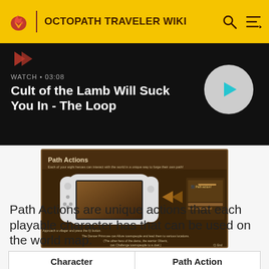OCTOPATH TRAVELER WIKI
WATCH • 03:08
Cult of the Lamb Will Suck You In - The Loop
[Figure (screenshot): Screenshot of Octopath Traveler Path Actions tutorial in game demo showing a Nintendo Switch with Path Actions menu]
Path Action Tutorial in the Demo
Path Actions are unique actions that each playable character has that can be used on the world map.
| Character | Path Action |
| --- | --- |